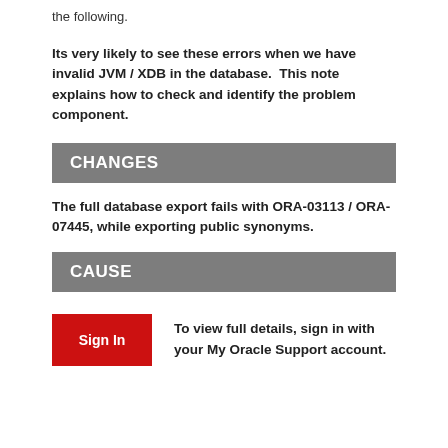the following.
Its very likely to see these errors when we have invalid JVM / XDB in the database.  This note explains how to check and identify the problem component.
CHANGES
The full database export fails with ORA-03113 / ORA-07445, while exporting public synonyms.
CAUSE
To view full details, sign in with your My Oracle Support account.